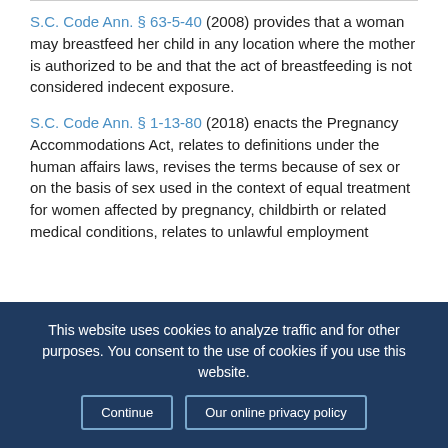for expressing breast milk.
S.C. Code Ann. § 63-5-40 (2008) provides that a woman may breastfeed her child in any location where the mother is authorized to be and that the act of breastfeeding is not considered indecent exposure.
S.C. Code Ann. § 1-13-80 (2018) enacts the Pregnancy Accommodations Act, relates to definitions under the human affairs laws, revises the terms because of sex or on the basis of sex used in the context of equal treatment for women affected by pregnancy, childbirth or related medical conditions, relates to unlawful employment
This website uses cookies to analyze traffic and for other purposes. You consent to the use of cookies if you use this website. Continue | Our online privacy policy